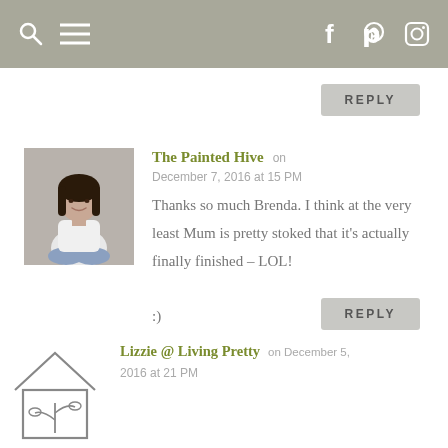Navigation bar with search, menu, Facebook, Pinterest, Instagram icons
REPLY
[Figure (photo): Avatar photo of The Painted Hive blogger, a woman with dark hair wearing white shirt, sitting cross-legged against a concrete wall]
The Painted Hive on December 7, 2016 at 15 PM
Thanks so much Brenda. I think at the very least Mum is pretty stoked that it's actually finally finished – LOL! :)
REPLY
[Figure (logo): Lizzie @ Living Pretty avatar: simple line drawing of a house with a plant/flower inside]
Lizzie @ Living Pretty on December 5, 2016 at 21 PM